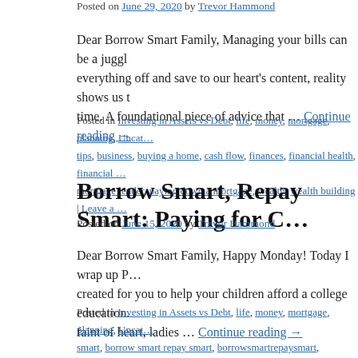Posted on June 29, 2020 by Trevor Hammond
Dear Borrow Smart Family, Managing your bills can be a juggl… everything off and save to our heart's content, reality shows us t… time. A foundational piece of advice that … Continue reading →
Posted in Investing in Assets vs Debt, life, money, mortgage, planning, Uncat… tips, business, buying a home, cash flow, finances, financial health, financial … mortgage lender, paying down a mortgage, wealth, wealth building | Leave a …
Borrow Smart, Repay Smart: Paying for C…
Posted on June 15, 2020 by Trevor Hammond
Dear Borrow Smart Family, Happy Monday! Today I wrap up P… created for you to help your children afford a college education. faint of heart, ladies … Continue reading →
Posted in Investing in Assets vs Debt, life, money, mortgage, planning, Uncat… smart, borrow smart repay smart, borrowsmartrepaysmart, budgeting, budge… savings, college tuition, Creating Wealth, dear loan officer, dearloanofficer, m… savings, savings plan, wealth, wealth building | Leave a comment